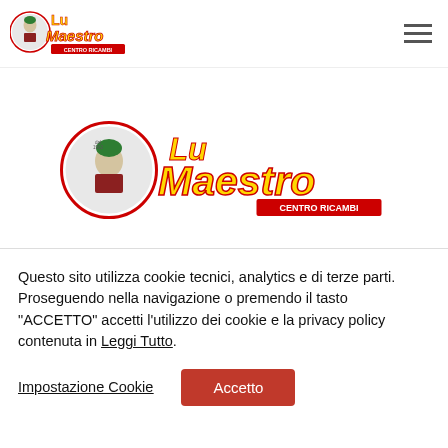Lu Maestro Centro Ricambi (logo + hamburger menu)
[Figure (logo): Lu Maestro Centro Ricambi large banner logo with character illustration]
CASCO INTEGRALE AGV ST...
€349.00 €229.00
Questo sito utilizza cookie tecnici, analytics e di terze parti. Proseguendo nella navigazione o premendo il tasto "ACCETTO" accetti l'utilizzo dei cookie e la privacy policy contenuta in Leggi Tutto.
Impostazione Cookie | Accetto